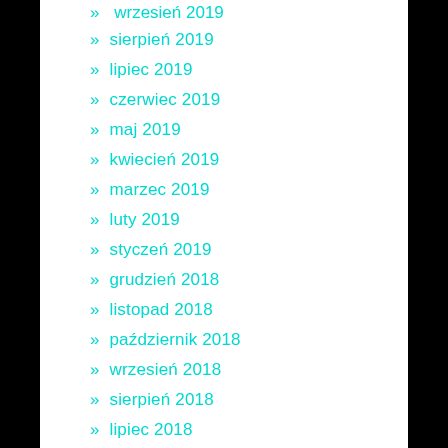» wrzesień 2019
» sierpień 2019
» lipiec 2019
» czerwiec 2019
» maj 2019
» kwiecień 2019
» marzec 2019
» luty 2019
» styczeń 2019
» grudzień 2018
» listopad 2018
» październik 2018
» wrzesień 2018
» sierpień 2018
» lipiec 2018
» czerwiec 2018